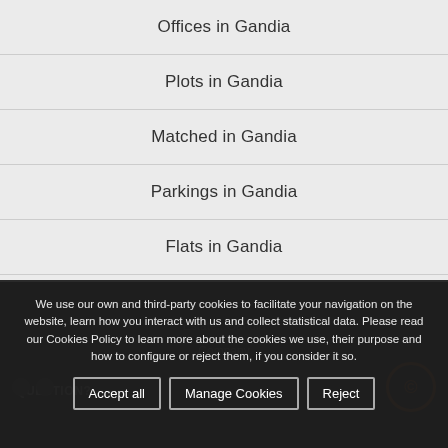Offices in Gandia
Plots in Gandia
Matched in Gandia
Parkings in Gandia
Flats in Gandia
Ground floor in Gandia
Floors in Gandia
We use our own and third-party cookies to facilitate your navigation on the website, learn how you interact with us and collect statistical data. Please read our Cookies Policy to learn more about the cookies we use, their purpose and how to configure or reject them, if you consider it so.
Accept all | Manage Cookies | Reject
QUESTION? | Estate...Gandia | Company